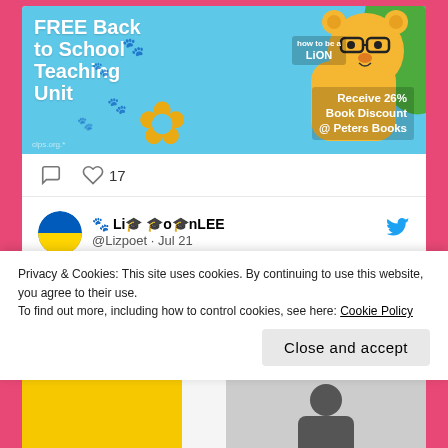[Figure (illustration): Promotional banner with light blue background showing 'FREE Back to School Teaching Unit' text on left, paw prints, an orange flower, and a cartoon lion on right, with 'How to be a Lion' book reference and 'Receive 26% Book Discount @ Peters Books' text]
17 (likes)
[Figure (screenshot): Tweet card showing user 'Li🐾 🎓o🎓nLEE @Lizpoet · Jul 21' with Ukraine flag avatar and Twitter bird icon. Tweet text: 'Laura Mucha: Excellent blog by @lauramucha today on Children's Poetry Summit @kidspoetsummit The Belonging of Books childrenspoetrysum mit.com/2022/07/21/lau']
Privacy & Cookies: This site uses cookies. By continuing to use this website, you agree to their use.
To find out more, including how to control cookies, see here: Cookie Policy
Close and accept